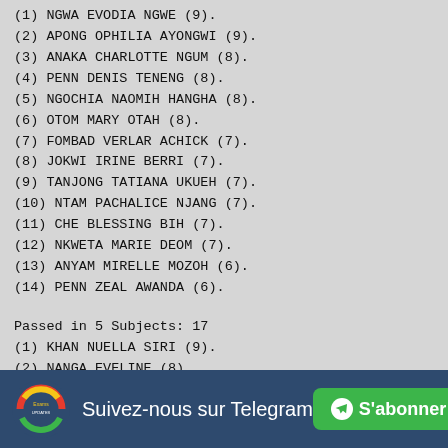(1) NGWA EVODIA NGWE (9).
(2) APONG OPHILIA AYONGWI (9).
(3) ANAKA CHARLOTTE NGUM (8).
(4) PENN DENIS TENENG (8).
(5) NGOCHIA NAOMIH HANGHA (8).
(6) OTOM MARY OTAH (8).
(7) FOMBAD VERLAR ACHICK (7).
(8) JOKWI IRINE BERRI (7).
(9) TANJONG TATIANA UKUEH (7).
(10) NTAM PACHALICE NJANG (7).
(11) CHE BLESSING BIH (7).
(12) NKWETA MARIE DEOM (7).
(13) ANYAM MIRELLE MOZOH (6).
(14) PENN ZEAL AWANDA (6).
Passed in 5 Subjects: 17
(1) KHAN NUELLA SIRI (9).
(2) NANGA EVELINE (8).
(3) YOLINE KONGLA DUIBE (8).
(4) CLAUDE THIERRY VERNYUY (8).
(5) BIH NWIH NSOH (8).
Suivez-nous sur Telegram  S'abonner